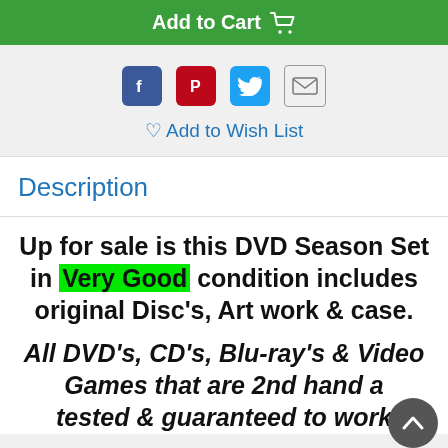[Figure (screenshot): Add to Cart button with shopping cart icon, green background]
[Figure (infographic): Social sharing icons: Facebook (blue), Pinterest (red), Twitter (light blue), Email (grey envelope)]
♡ Add to Wish List
Description
Up for sale is this DVD Season Set in Very Good condition includes original Disc's, Art work & case.
All DVD's, CD's, Blu-ray's & Video Games that are 2nd hand are tested & guaranteed to work